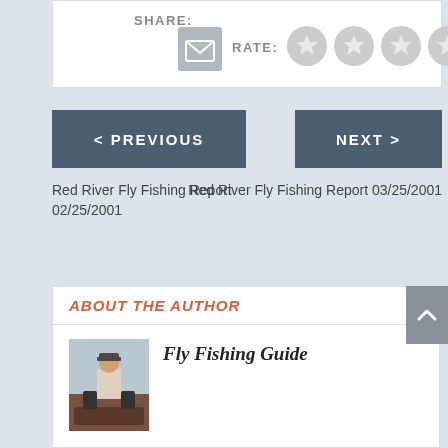SHARE:
[Figure (infographic): Email share icon button (grey square with envelope icon) and RATE: label with 5 grey star rating circles]
< PREVIOUS
NEXT >
Red River Fly Fishing Report 02/25/2001
Red River Fly Fishing Report 03/25/2001
ABOUT THE AUTHOR
Fly Fishing Guide
[Figure (photo): Photo of a person on a fishing boat, wearing a cap, with fishing equipment visible]